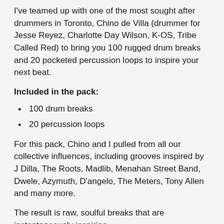I've teamed up with one of the most sought after drummers in Toronto, Chino de Villa (drummer for Jesse Reyez, Charlotte Day Wilson, K-OS, Tribe Called Red) to bring you 100 rugged drum breaks and 20 pocketed percussion loops to inspire your next beat.
Included in the pack:
100 drum breaks
20 percussion loops
For this pack, Chino and I pulled from all our collective influences, including grooves inspired by J Dilla, The Roots, Madlib, Menahan Street Band, Dwele, Azymuth, D'angelo, The Meters, Tony Allen and many more.
The result is raw, soulful breaks that are instantaneously inspiring.
Warning: These are not pristine breaks recorded with 100 mics in a million dollar studio. They will not make you sound like Phil Collins. These are those raw, straight off the tape deck beats that ooze character.
So if you're looking for some drums to kick start your next